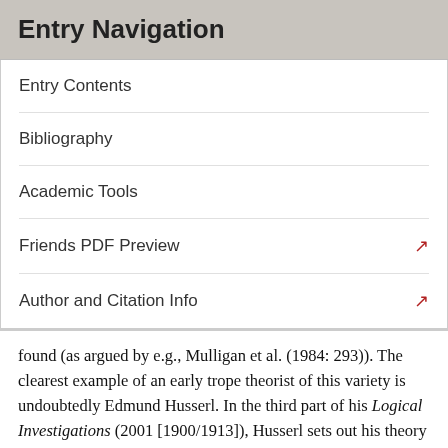Entry Navigation
Entry Contents
Bibliography
Academic Tools
Friends PDF Preview
Author and Citation Info
found (as argued by e.g., Mulligan et al. (1984: 293)). The clearest example of an early trope theorist of this variety is undoubtedly Edmund Husserl. In the third part of his Logical Investigations (2001 [1900/1913]), Husserl sets out his theory of “moments,” which is his name for the world’s abstract (and essentially dependent) individual parts, in order to then clearly distinguish and relate them to the world’s concrete parts using his theory of “foundations,” a species of the kind ontological dependence (for more on Husserl’s version of the trope theory, see Correia 2004 and Beyer 2011).[2]